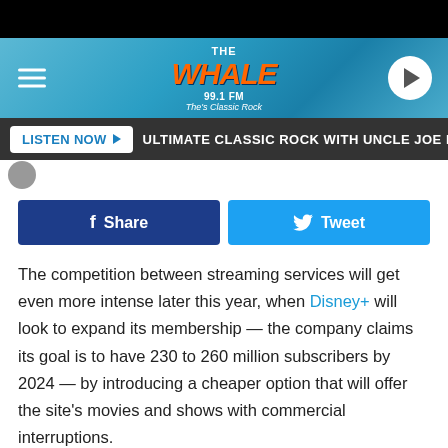The Whale 99.1 FM — The Classic Rock
LISTEN NOW ▶  ULTIMATE CLASSIC ROCK WITH UNCLE JOE BENSON
[Figure (other): Facebook Share button and Twitter Tweet button]
The competition between streaming services will get even more intense later this year, when Disney+ will look to expand its membership — the company claims its goal is to have 230 to 260 million subscribers by 2024 — by introducing a cheaper option that will offer the site's movies and shows with commercial interruptions.
In a press release, Disney claimed the ad-supported Disney+ option will debut "in late 2022, with plans to expand